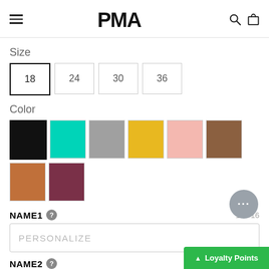PMA — navigation header with hamburger menu, search and bag icons
Size
18 (selected), 24, 30, 36
Color
Color swatches: black (selected), teal, gray, yellow, pink, brown, copper/orange, dark red
NAME1  16 / 16
PERSONALIZE (placeholder)
NAME2
PERSONALIZE (placeholder)
Loyalty Points